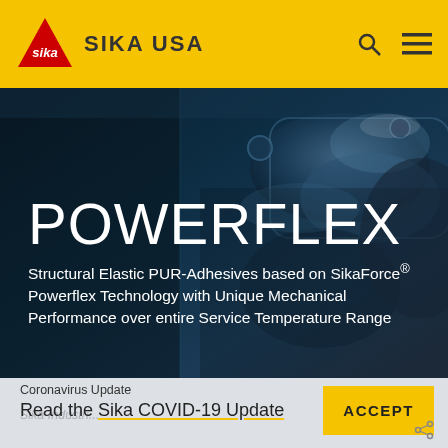[Figure (logo): Sika logo - red triangle with script text, on yellow header bar with SIKA USA brand name and navigation icons]
SIKA USA
[Figure (photo): Dark industrial/mechanical background photo showing metal machinery parts, bolts and cylindrical components in blue-teal tones]
POWERFLEX
Structural Elastic PUR-Adhesives based on SikaForce® Powerflex Technology with Unique Mechanical Performance over entire Service Temperature Range
Coronavirus Update
Read the Sika COVID-19 Update
ACCEPT
Sika Industri...